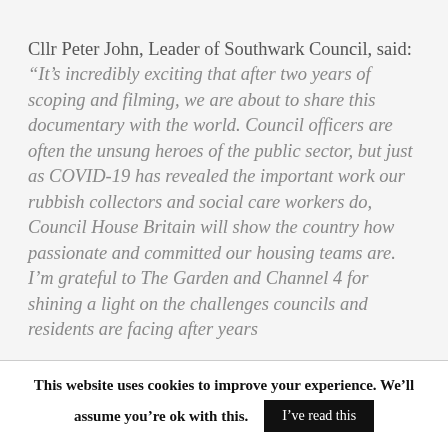Cllr Peter John, Leader of Southwark Council, said: “It’s incredibly exciting that after two years of scoping and filming, we are about to share this documentary with the world. Council officers are often the unsung heroes of the public sector, but just as COVID-19 has revealed the important work our rubbish collectors and social care workers do, Council House Britain will show the country how passionate and committed our housing teams are. I’m grateful to The Garden and Channel 4 for shining a light on the challenges councils and residents are facing after years
This website uses cookies to improve your experience. We’ll assume you’re ok with this. I’ve read this